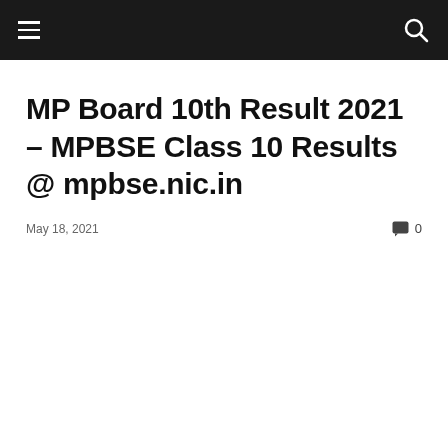navigation bar with hamburger menu and search icon
MP Board 10th Result 2021 – MPBSE Class 10 Results @ mpbse.nic.in
May 18, 2021   0